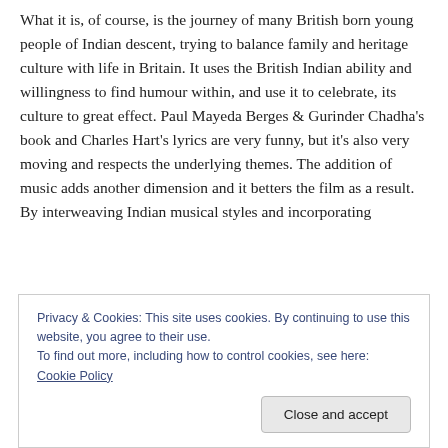What it is, of course, is the journey of many British born young people of Indian descent, trying to balance family and heritage culture with life in Britain. It uses the British Indian ability and willingness to find humour within, and use it to celebrate, its culture to great effect. Paul Mayeda Berges & Gurinder Chadha's book and Charles Hart's lyrics are very funny, but it's also very moving and respects the underlying themes. The addition of music adds another dimension and it betters the film as a result. By interweaving Indian musical styles and incorporating
Privacy & Cookies: This site uses cookies. By continuing to use this website, you agree to their use.
To find out more, including how to control cookies, see here: Cookie Policy
Close and accept